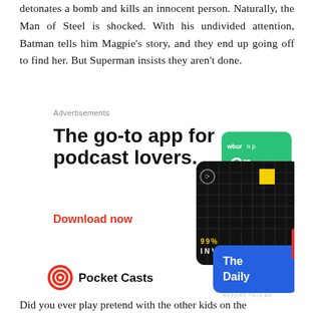detonates a bomb and kills an innocent person. Naturally, the Man of Steel is shocked. With his undivided attention, Batman tells him Magpie's story, and they end up going off to find her. But Superman insists they aren't done.
Advertisements
[Figure (other): Pocket Casts advertisement: 'The go-to app for podcast lovers.' with a 'Download now' call to action in red, Pocket Casts logo, and podcast app card graphics including 99% Invisible, The Daily, and others.]
Did you ever play pretend with the other kids on the